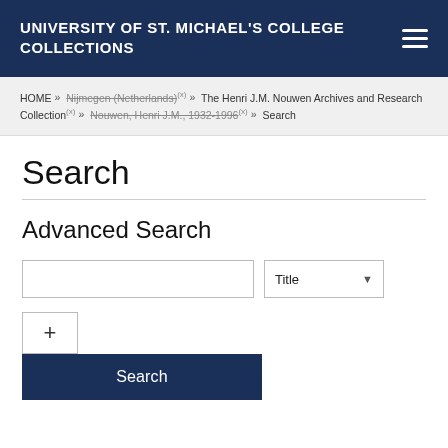UNIVERSITY OF ST. MICHAEL'S COLLEGE COLLECTIONS
HOME » Nijmegen (Netherlands)(x) » The Henri J.M. Nouwen Archives and Research Collection(x) » Nouwen, Henri J.M., 1932-1996(x) » Search
Search
Advanced Search